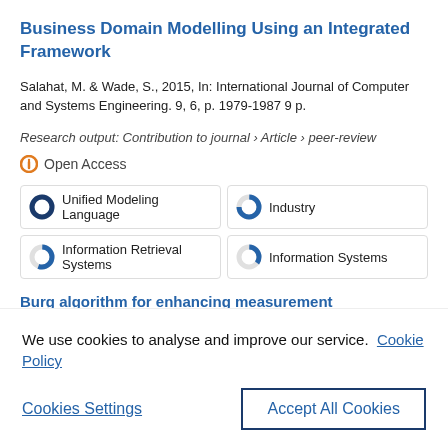Business Domain Modelling Using an Integrated Framework
Salahat, M. & Wade, S., 2015, In: International Journal of Computer and Systems Engineering. 9, 6, p. 1979-1987 9 p.
Research output: Contribution to journal › Article › peer-review
Open Access
Unified Modeling Language
Industry
Information Retrieval Systems
Information Systems
Burg algorithm for enhancing measurement
We use cookies to analyse and improve our service. Cookie Policy
Cookies Settings
Accept All Cookies